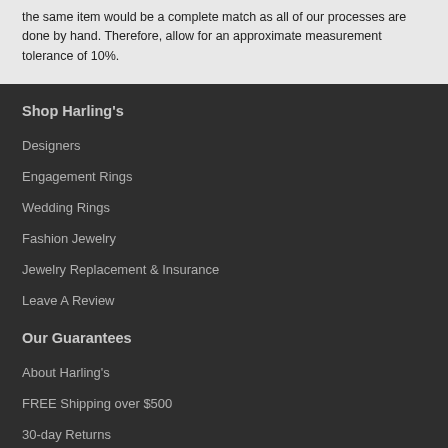the same item would be a complete match as all of our processes are done by hand. Therefore, allow for an approximate measurement tolerance of 10%.
Shop Harling's
Designers
Engagement Rings
Wedding Rings
Fashion Jewelry
Jewelry Replacement & Insurance
Leave A Review
Our Guarantees
About Harling's
FREE Shipping over $500
30-day Returns
Lifetime Warranty